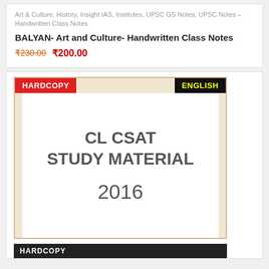Art & Culture, History, Insight IAS, Institutes, UPSC GS Notes, UPSC Notes – Handwritten Class Notes
BALYAN- Art and Culture- Handwritten Class Notes
₹230.00  ₹200.00
[Figure (photo): Book cover image showing CL CSAT Study Material 2016 with HARDCOPY and ENGLISH badges]
HARDCOPY